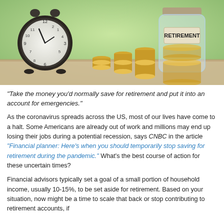[Figure (photo): Photo of an alarm clock beside stacks of coins of increasing height and a glass jar labeled 'RETIREMENT' filled with coins, on a wooden surface with a blurred green background.]
“Take the money you’d normally save for retirement and put it into an account for emergencies.”
As the coronavirus spreads across the US, most of our lives have come to a halt. Some Americans are already out of work and millions may end up losing their jobs during a potential recession, says CNBC in the article “Financial planner: Here’s when you should temporarily stop saving for retirement during the pandemic.” What’s the best course of action for these uncertain times?
Financial advisors typically set a goal of a small portion of household income, usually 10-15%, to be set aside for retirement. Based on your situation, now might be a time to scale that back or stop contributing to retirement accounts, if